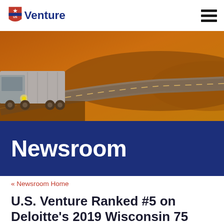[Figure (logo): U.S. Venture logo with red shield icon and blue text]
[Figure (photo): Semi truck on a winding road at sunset/golden hour with warm orange tones]
Newsroom
« Newsroom Home
U.S. Venture Ranked #5 on Deloitte's 2019 Wisconsin 75 List
30 Dec 2019